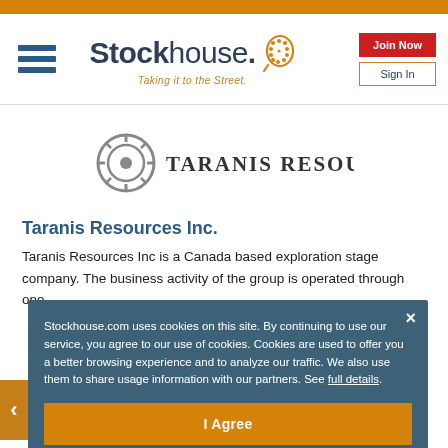[Figure (logo): Stockhouse logo with hamburger menu icon, orange dot-pattern head icon, tagline 'Taking it to the Street.', Join Now button and Sign In button]
[Figure (logo): Taranis Resources Inc. company logo: circular gear/crosshair icon in grey followed by company name in spaced serif caps]
Taranis Resources Inc.
Taranis Resources Inc is a Canada based exploration stage company. The business activity of the group is operated through one ...
Stockhouse.com uses cookies on this site. By continuing to use our service, you agree to our use of cookies. Cookies are used to offer you a better browsing experience and to analyze our traffic. We also use them to share usage information with our partners. See full details.
I Agree